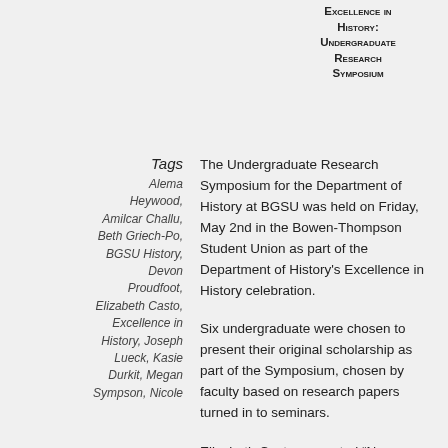Excellence in History: Undergraduate Research Symposium
The Undergraduate Research Symposium for the Department of History at BGSU was held on Friday, May 2nd in the Bowen-Thompson Student Union as part of the Department of History's Excellence in History celebration.
Six undergraduate were chosen to present their original scholarship as part of the Symposium, chosen by faculty based on research papers turned in to seminars.
Elizabeth Casto presented “New Women: The Impact of Evolving Social Reforms on Women in Weimar and Nazi Germany” from Dr. Beth Griech-Polelle’s History 3670: Hitler’s Germany.
Tags
Alema Heywood, Amilcar Challu, Beth Griech-Po, BGSU History, Devon Proudfoot, Elizabeth Casto, Excellence in History, Joseph Lueck, Kasie Durkit, Megan Sympson, Nicole